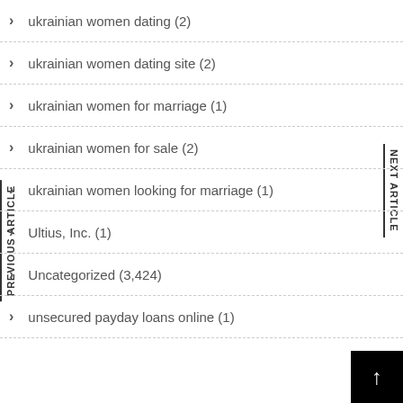ukrainian women dating (2)
ukrainian women dating site (2)
ukrainian women for marriage (1)
ukrainian women for sale (2)
ukrainian women looking for marriage (1)
Ultius, Inc. (1)
Uncategorized (3,424)
unsecured payday loans online (1)